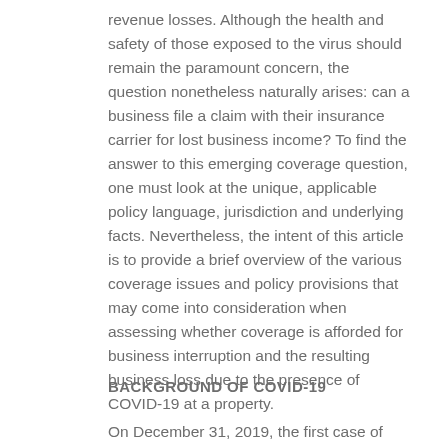revenue losses. Although the health and safety of those exposed to the virus should remain the paramount concern, the question nonetheless naturally arises: can a business file a claim with their insurance carrier for lost business income? To find the answer to this emerging coverage question, one must look at the unique, applicable policy language, jurisdiction and underlying facts. Nevertheless, the intent of this article is to provide a brief overview of the various coverage issues and policy provisions that may come into consideration when assessing whether coverage is afforded for business interruption and the resulting business loss due to the presence of COVID-19 at a property.
BACKGROUND OF COVID-19
On December 31, 2019, the first case of